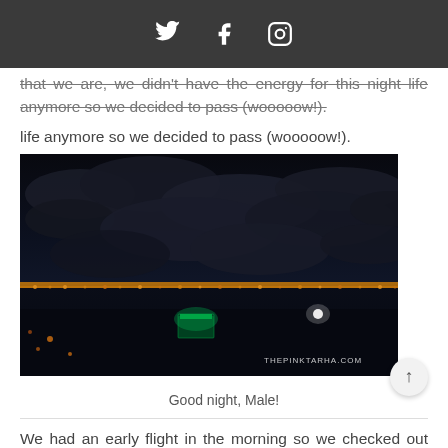[Twitter] [Facebook] [Instagram]
that we are, we didn't have the energy for this night life anymore so we decided to pass (wooooow!).
[Figure (photo): Night photograph of Male city with harbor and city lights glowing against dark sky with clouds. Watermark reads THEPINKTARHA.COM]
Good night, Male!
We had an early flight in the morning so we checked out around 6 in the morning and traveled to the